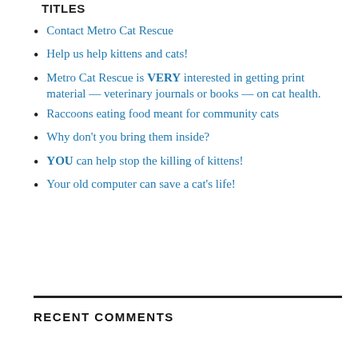TITLES
Contact Metro Cat Rescue
Help us help kittens and cats!
Metro Cat Rescue is VERY interested in getting print material — veterinary journals or books — on cat health.
Raccoons eating food meant for community cats
Why don't you bring them inside?
YOU can help stop the killing of kittens!
Your old computer can save a cat's life!
RECENT COMMENTS